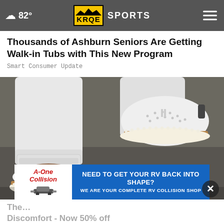☁ 82° | KRQE SPORTS
Thousands of Ashburn Seniors Are Getting Walk-in Tubs with This New Program
Smart Consumer Update
[Figure (photo): Close-up photo of feet wearing white perforated slip-on shoes with tan/brown stripe and pearl-like trim on the sole, against a dark pavement background. Person is wearing white rolled-up jeans.]
[Figure (infographic): A-One Collision advertisement banner: white logo section on left reading 'A-One Collision' with a car icon, blue section on right reading 'NEED TO GET YOUR RV BACK INTO SHAPE? WE ARE YOUR COMPLETE RV COLLISION SHOP']
The... Discomfort - Now 50% off